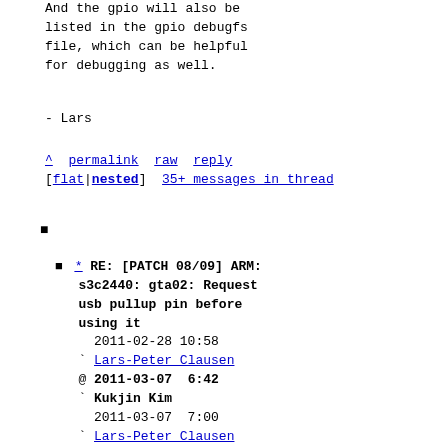And the gpio will also be listed in the gpio debugfs file, which can be helpful for debugging as well.
- Lars
^ permalink raw reply [flat|nested] 35+ messages in thread
■
* RE: [PATCH 08/09] ARM: s3c2440: gta02: Request usb pullup pin before using it 2011-02-28 10:58 Lars-Peter Clausen @ 2011-03-07 6:42 Kukjin Kim 2011-03-07 7:00 Lars-Peter Clausen 0 siblings, 1 reply; 35+ messages in thread From: Kukjin Kim @ 2011-03-07 6:42 UTC (permalink / raw) To: 'Lars-Peter Clausen' Cc: |Ben Dooks|